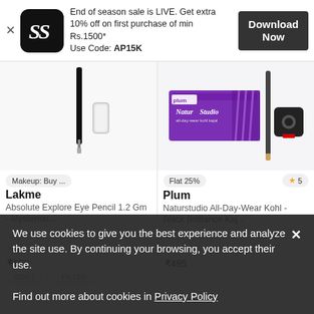[Figure (screenshot): App advertisement banner for a shopping app with logo, promotional text, and Download Now button]
End of season sale is LIVE. Get extra 10% off on first purchase of min Rs.1500*
Use Code: AP15K
Download Now
[Figure (photo): Lakme Absolute Explore Eye Pencil product image showing a black eyeliner pencil and cap]
[Figure (photo): Plum Naturstudio All-Day-Wear Kohl product image showing purple packaging and pencil sharpener]
Makeup: Buy ...
Flat 25%
★5
Lakme
Absolute Explore Eye Pencil 1.2 Gm - Mysteriou...
Plum
Naturstudio All-Day-Wear Kohl - Black Brilliance Kaj...
₹495
+7
₹650
SORT
FILTER
We use cookies to give you the best experience and analyze the site use. By continuing your browsing, you accept their use.

Find out more about cookies in Privacy Policy
×